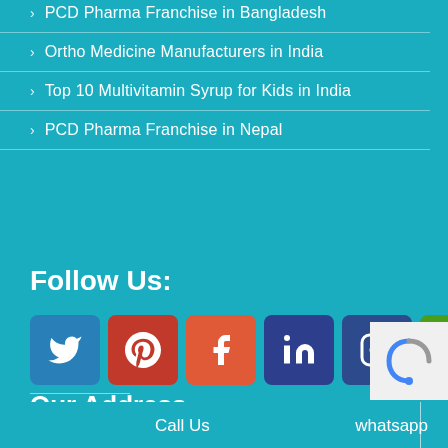PCD Pharma Franchise in Bangladesh
Ortho Medicine Manufacturers in India
Top 10 Multivitamin Syrup for Kids in India
PCD Pharma Franchise in Nepal
Follow Us:
[Figure (infographic): Social media icons: Twitter (blue), Pinterest (red), Facebook (orange-red), LinkedIn (dark blue), Instagram (dark blue), More/Plus (green)]
Our Address
Call Us
whatsapp